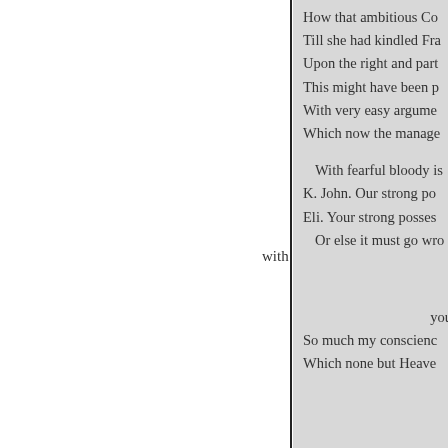How that ambitious Co-
Till she had kindled Fra-
Upon the right and part-
This might have been p-
With very easy argume-
Which now the manage-

With fearful bloody is-
K. John. Our strong po-
Eli. Your strong posses-
   Or else it must go wro-

with

you
So much my conscienc-
Which none but Heave-

Enter a She-
Ence. My Liege, hre-